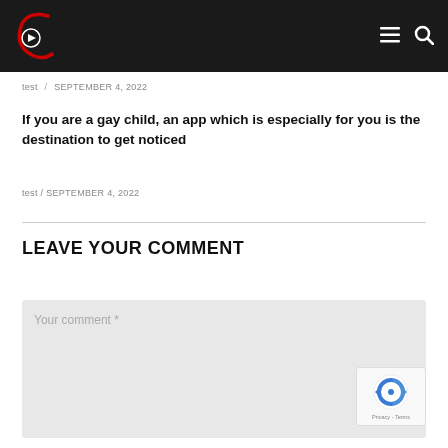C [logo] ≡ 🔍
test / SEPTEMBER 4, 2022
If you are a gay child, an app which is especially for you is the destination to get noticed
test / SEPTEMBER 4, 2022
LEAVE YOUR COMMENT
Your comment *